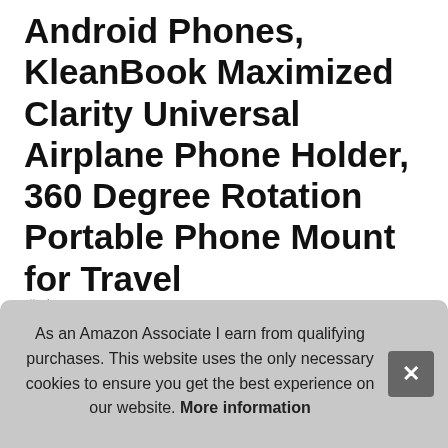Android Phones, KleanBook Maximized Clarity Universal Airplane Phone Holder, 360 Degree Rotation Portable Phone Mount for Travel
#ad
[Figure (photo): Four product images: 1) Phone holder attached to airplane tray table seat back 2) Phone holder in kitchen setting with spices 3) Woman sitting on luggage with phone in holder 4) Product components/variants on teal background]
Klea... size... upp... Suc...
As an Amazon Associate I earn from qualifying purchases. This website uses the only necessary cookies to ensure you get the best experience on our website. More information